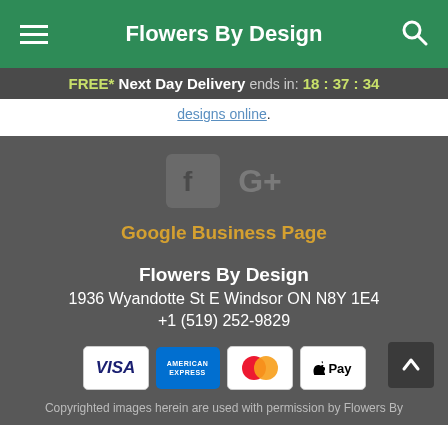Flowers By Design
FREE* Next Day Delivery ends in: 18:37:34
designs online.
[Figure (logo): Facebook icon and Google+ icon]
Google Business Page
Flowers By Design
1936 Wyandotte St E Windsor ON N8Y 1E4
+1 (519) 252-9829
[Figure (other): Payment method icons: Visa, American Express, Mastercard, Apple Pay]
Copyrighted images herein are used with permission by Flowers By